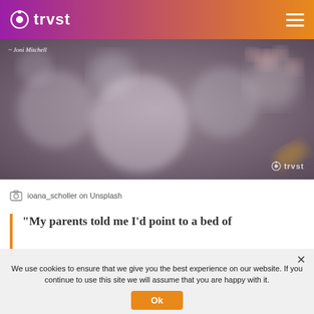trvst
[Figure (photo): Bokeh background photo with flowers, showing italic text attribution '~ Joni Mitchell' and trvst watermark logo]
ioana_scholler on Unsplash
"My parents told me I'd point to a bed of
We use cookies to ensure that we give you the best experience on our website. If you continue to use this site we will assume that you are happy with it.